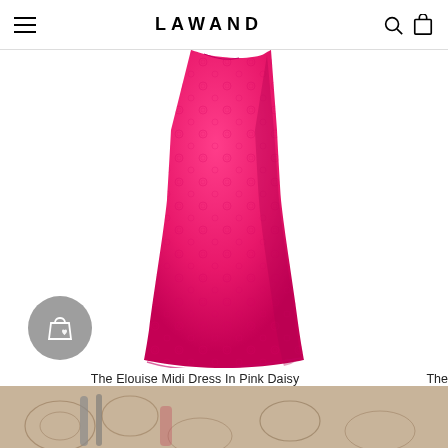LAWAND (navigation header with hamburger menu, logo, search and cart icons)
[Figure (photo): Hot pink/fuchsia midi dress with floral lace texture, displayed on white background. The dress shows a fitted silhouette flaring at the hem.]
The Elouise Midi Dress In Pink Daisy
£165  £225
The
[Figure (photo): Partial bottom strip showing a floral patterned fabric/scene in beige/tan tones with grey elements, partially cropped at page bottom.]